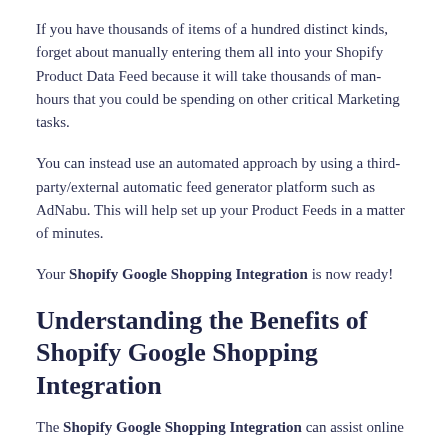If you have thousands of items of a hundred distinct kinds, forget about manually entering them all into your Shopify Product Data Feed because it will take thousands of man-hours that you could be spending on other critical Marketing tasks.
You can instead use an automated approach by using a third-party/external automatic feed generator platform such as AdNabu. This will help set up your Product Feeds in a matter of minutes.
Your Shopify Google Shopping Integration is now ready!
Understanding the Benefits of Shopify Google Shopping Integration
The Shopify Google Shopping Integration can assist online